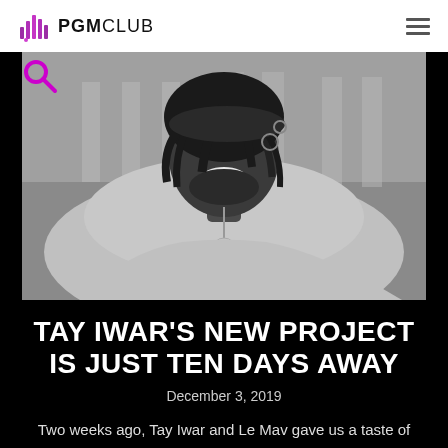PGM CLUB
[Figure (photo): Black and white photo of a smiling man with dreadlocks wearing a round pendant necklace and a light-colored wrap, looking downward]
TAY IWAR'S NEW PROJECT IS JUST TEN DAYS AWAY
December 3, 2019
Two weeks ago, Tay Iwar and Le Mav gave us a taste of what they have been cooking for some time now. After teaming up